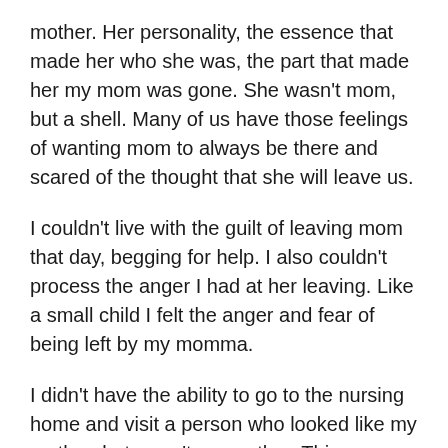mother. Her personality, the essence that made her who she was, the part that made her my mom was gone. She wasn't mom, but a shell. Many of us have those feelings of wanting mom to always be there and scared of the thought that she will leave us.
I couldn't live with the guilt of leaving mom that day, begging for help. I also couldn't process the anger I had at her leaving. Like a small child I felt the anger and fear of being left by my momma.
I didn't have the ability to go to the nursing home and visit a person who looked like my mother, but wasn't my mother. This was my method of self preservation.....My coping mechanism.
It was a learned behavior. Whenever we moved, dad didn't believe in going back to the prior church, or town...